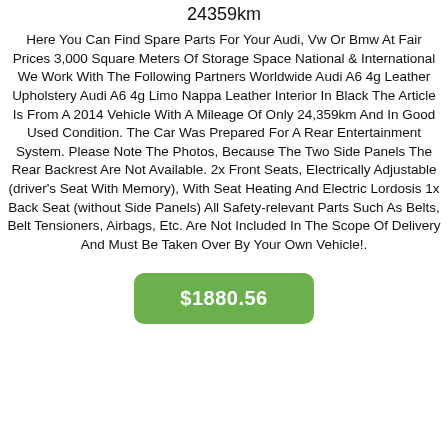24359km
Here You Can Find Spare Parts For Your Audi, Vw Or Bmw At Fair Prices 3,000 Square Meters Of Storage Space National & International We Work With The Following Partners Worldwide Audi A6 4g Leather Upholstery Audi A6 4g Limo Nappa Leather Interior In Black The Article Is From A 2014 Vehicle With A Mileage Of Only 24,359km And In Good Used Condition. The Car Was Prepared For A Rear Entertainment System. Please Note The Photos, Because The Two Side Panels The Rear Backrest Are Not Available. 2x Front Seats, Electrically Adjustable (driver's Seat With Memory), With Seat Heating And Electric Lordosis 1x Back Seat (without Side Panels) All Safety-relevant Parts Such As Belts, Belt Tensioners, Airbags, Etc. Are Not Included In The Scope Of Delivery And Must Be Taken Over By Your Own Vehicle!.
$1880.56